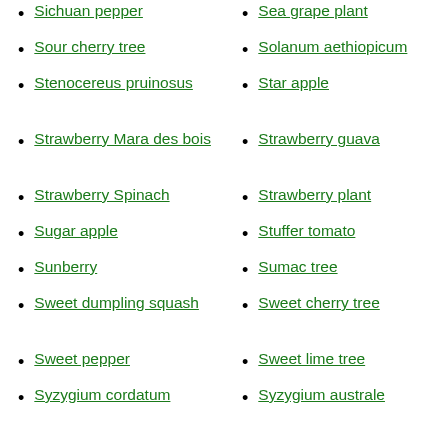Sichuan pepper
Sea grape plant
Sour cherry tree
Solanum aethiopicum
Stenocereus pruinosus
Star apple
Strawberry Mara des bois
Strawberry guava
Strawberry Spinach
Strawberry plant
Sugar apple
Stuffer tomato
Sunberry
Sumac tree
Sweet dumpling squash
Sweet cherry tree
Sweet pepper
Sweet lime tree
Syzygium cordatum
Syzygium australe